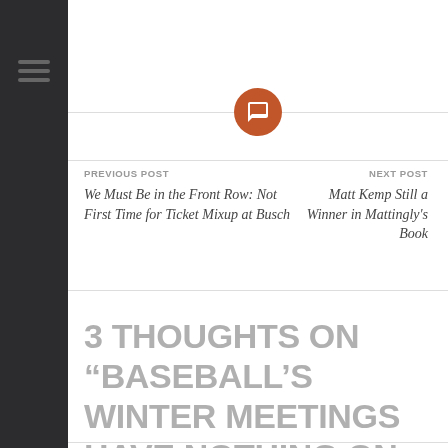[Figure (other): Dark sidebar with hamburger menu icon (three horizontal bars)]
[Figure (other): Orange circle icon with speech/comment bubble, centered on a horizontal divider line]
PREVIOUS POST
We Must Be in the Front Row: Not First Time for Ticket Mixup at Busch
NEXT POST
Matt Kemp Still a Winner in Mattingly's Book
3 THOUGHTS ON “BASEBALL’S WINTER MEETINGS HAVE NOTHING ON THIS”